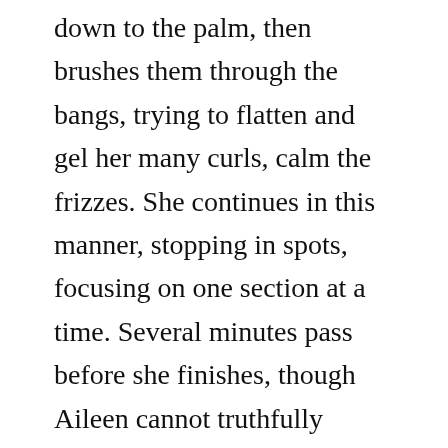down to the palm, then brushes them through the bangs, trying to flatten and gel her many curls, calm the frizzes. She continues in this manner, stopping in spots, focusing on one section at a time. Several minutes pass before she finishes, though Aileen cannot truthfully discern a difference between the hair as it is, and was before the efforts to control it. But the woman must be satisfied with the change, because she returns her hands to their prior job—bending flat the spine of a paperback. A mystery. Who is Aileen to deny the